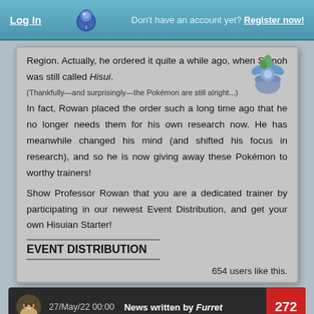Log In | Don't have an account yet? Register now!
Region. Actually, he ordered it quite a while ago, when Sinnoh was still called Hisui. (Thankfully—and surprisingly—the Pokémon are still alright...)
In fact, Rowan placed the order such a long time ago that he no longer needs them for his own research now. He has meanwhile changed his mind (and shifted his focus in research), and so he is now giving away these Pokémon to worthy trainers!
Show Professor Rowan that you are a dedicated trainer by participating in our newest Event Distribution, and get your own Hisuian Starter!
EVENT DISTRIBUTION
654 users like this.
27/May/22 00:00  News written by Furret  272